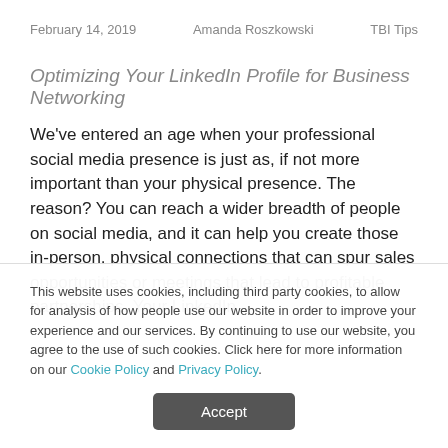February 14, 2019    Amanda Roszkowski    TBI Tips
Optimizing Your LinkedIn Profile for Business Networking
We've entered an age when your professional social media presence is just as, if not more important than your physical presence. The reason? You can reach a wider breadth of people on social media, and it can help you create those in-person, physical connections that can spur sales opportunities or meetings that lead to profitable partnerships. Your LinkedIn
This website uses cookies, including third party cookies, to allow for analysis of how people use our website in order to improve your experience and our services. By continuing to use our website, you agree to the use of such cookies. Click here for more information on our Cookie Policy and Privacy Policy.